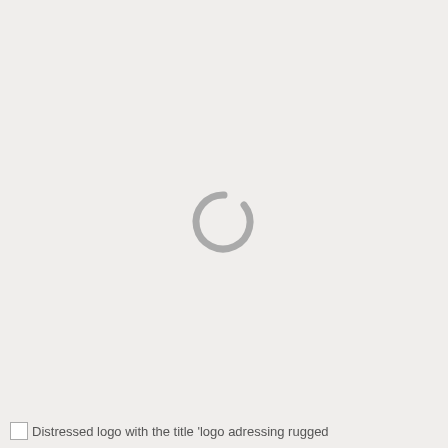[Figure (logo): Loading spinner icon — a grey open arc (letter C shape) centered on the page, indicating a loading state or broken/missing image placeholder.]
Distressed logo with the title 'logo adressing rugged